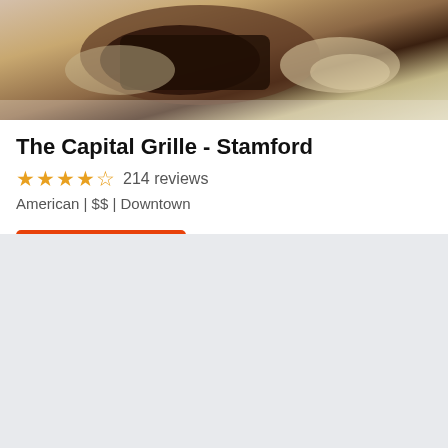[Figure (photo): Cropped photo of a plated food dish, appears to show a dark-crusted meat or dessert on a white plate with a sauce or garnish]
The Capital Grille - Stamford
★★★★☆ 214 reviews
American | $$  | Downtown
Find a Table